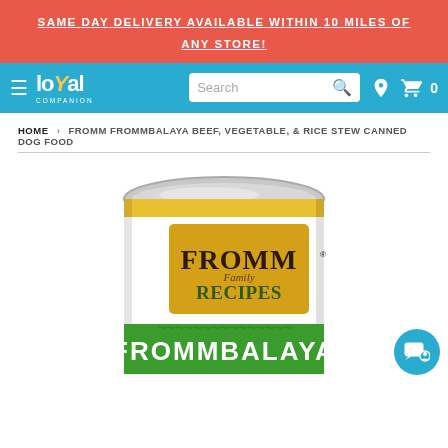SAME DAY DELIVERY AVAILABLE WITHIN 10 MILES OF ANY STORE!
[Figure (logo): Loyal Companion pet store logo and navigation bar with search box, location icon, and cart icon showing 0 items]
HOME › FROMM FROMMBALAYA BEEF, VEGETABLE, & RICE STEW CANNED DOG FOOD
[Figure (photo): Fromm Family Recipes Frommbalaya canned dog food product photo showing the top of a silver can with yellow and green label reading FROMM Family RECIPES FROMMBALAYA]